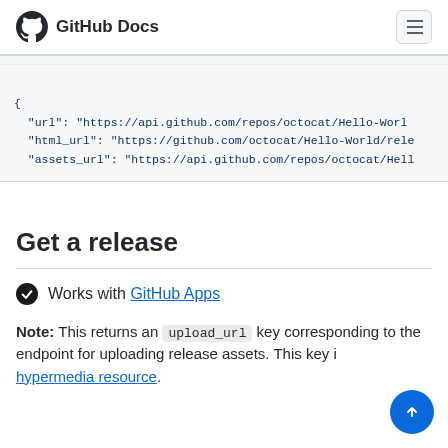GitHub Docs
[Figure (screenshot): Code block showing JSON response with url, html_url, and assets_url keys pointing to api.github.com and github.com endpoints]
Get a release
Works with GitHub Apps
Note: This returns an upload_url key corresponding to the endpoint for uploading release assets. This key is a hypermedia resource.